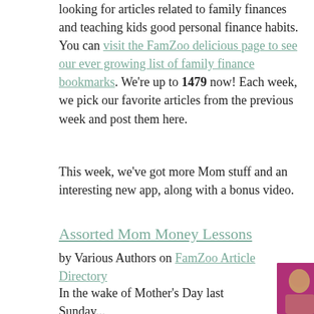looking for articles related to family finances and teaching kids good personal finance habits. You can visit the FamZoo delicious page to see our ever growing list of family finance bookmarks. We're up to 1479 now! Each week, we pick our favorite articles from the previous week and post them here.
This week, we've got more Mom stuff and an interesting new app, along with a bonus video.
Assorted Mom Money Lessons
by Various Authors on FamZoo Article Directory
In the wake of Mother's Day last Sunday...
[Figure (photo): Photo of a smiling man against a magenta/pink background, cropped at bottom of page]